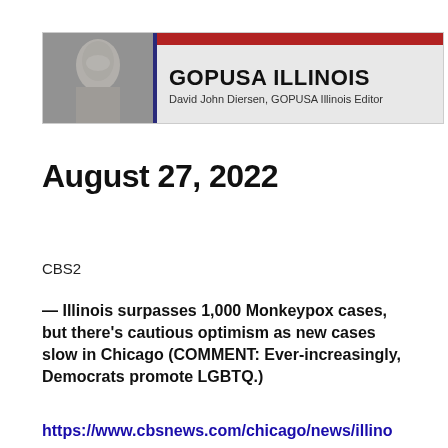[Figure (logo): GOPUSA Illinois banner with Lincoln statue image on the left, red bar at top, bold title 'GOPUSA ILLINOIS' and subtitle 'David John Diersen, GOPUSA Illinois Editor']
August 27, 2022
CBS2
— Illinois surpasses 1,000 Monkeypox cases, but there's cautious optimism as new cases slow in Chicago (COMMENT: Ever-increasingly, Democrats promote LGBTQ.)
https://www.cbsnews.com/chicago/news/illino